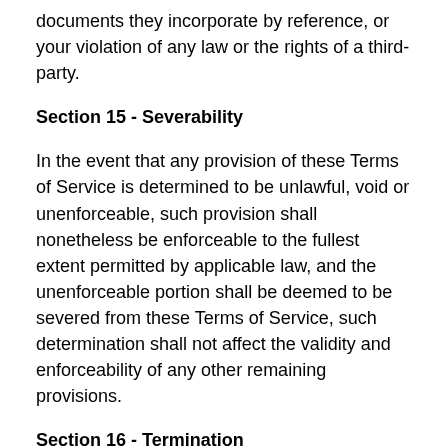documents they incorporate by reference, or your violation of any law or the rights of a third-party.
Section 15 - Severability
In the event that any provision of these Terms of Service is determined to be unlawful, void or unenforceable, such provision shall nonetheless be enforceable to the fullest extent permitted by applicable law, and the unenforceable portion shall be deemed to be severed from these Terms of Service, such determination shall not affect the validity and enforceability of any other remaining provisions.
Section 16 - Termination
The obligations and liabilities of the parties incurred prior to the termination date shall survive the termination of this agreement for all purposes. These Terms of Service are effective unless and until terminated by either you or us. You may terminate